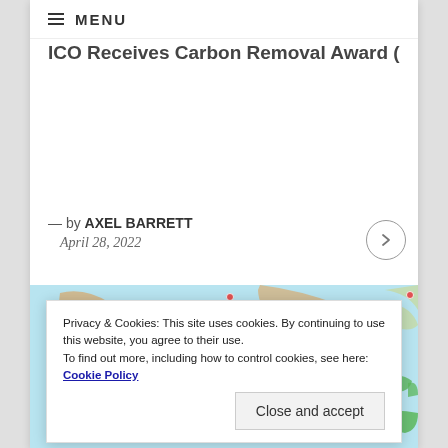≡ MENU
ICO Receives Carbon Removal Award (PRE)
— by AXEL BARRETT
April 28, 2022
[Figure (map): Map showing Indonesian islands including Java (Jakarta, Bali) and East Timor, with ocean in light blue and land in green/tan colors]
Privacy & Cookies: This site uses cookies. By continuing to use this website, you agree to their use.
To find out more, including how to control cookies, see here: Cookie Policy
Close and accept